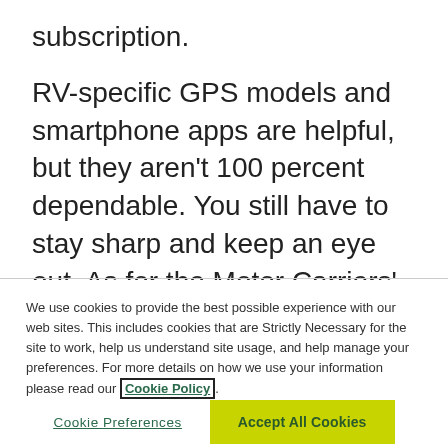subscription.
RV-specific GPS models and smartphone apps are helpful, but they aren't 100 percent dependable. You still have to stay sharp and keep an eye out. As for the Motor Carriers' Road Atlas (the trucker's bible), RV
We use cookies to provide the best possible experience with our web sites. This includes cookies that are Strictly Necessary for the site to work, help us understand site usage, and help manage your preferences. For more details on how we use your information please read our Cookie Policy.
Cookie Preferences
Accept All Cookies